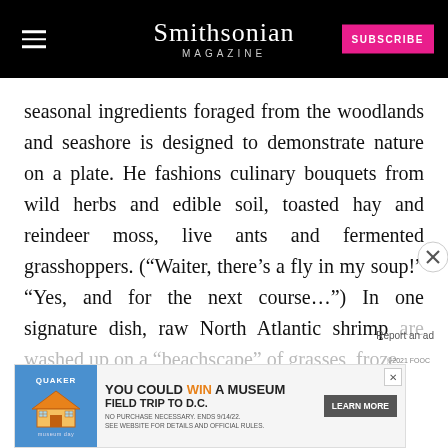Smithsonian MAGAZINE | SUBSCRIBE
seasonal ingredients foraged from the woodlands and seashore is designed to demonstrate nature on a plate. He fashions culinary bouquets from wild herbs and edible soil, toasted hay and reindeer moss, live ants and fermented grasshoppers. (“Waiter, there’s a fly in my soup!” “Yes, and for the next course…”) In one signature dish, raw North Atlantic shrimp are washed up on a “beachscape” of grasses, froze… show… …nge innards. Slee… provides the machine… the …